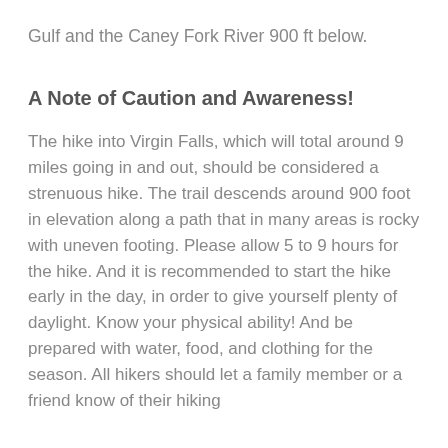Gulf and the Caney Fork River 900 ft below.
A Note of Caution and Awareness!
The hike into Virgin Falls, which will total around 9 miles going in and out, should be considered a strenuous hike. The trail descends around 900 foot in elevation along a path that in many areas is rocky with uneven footing. Please allow 5 to 9 hours for the hike. And it is recommended to start the hike early in the day, in order to give yourself plenty of daylight. Know your physical ability! And be prepared with water, food, and clothing for the season. All hikers should let a family member or a friend know of their hiking